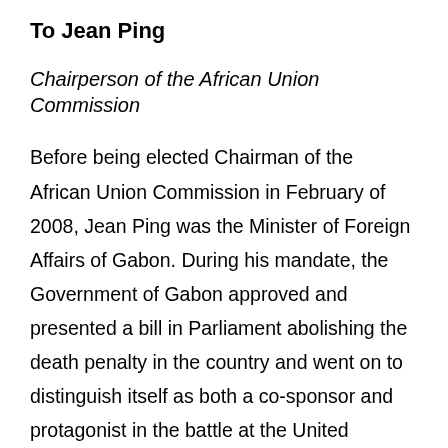To Jean Ping
Chairperson of the African Union Commission
Before being elected Chairman of the African Union Commission in February of 2008, Jean Ping was the Minister of Foreign Affairs of Gabon. During his mandate, the Government of Gabon approved and presented a bill in Parliament abolishing the death penalty in the country and went on to distinguish itself as both a co-sponsor and protagonist in the battle at the United Nations in New York that saw to the success, in December of 2007, of the Resolution for a Universal Moratorium on